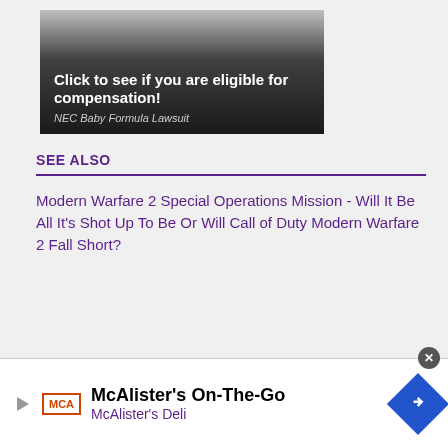[Figure (infographic): Dark gradient advertisement banner with text: 'Click to see if you are eligible for compensation! NEC Baby Formula Lawsuit']
SEE ALSO
Modern Warfare 2 Special Operations Mission - Will It Be All It's Shot Up To Be Or Will Call of Duty Modern Warfare 2 Fall Short?
[Figure (infographic): McAlister's On-The-Go advertisement banner at bottom with McAlister's Deli text and logo]